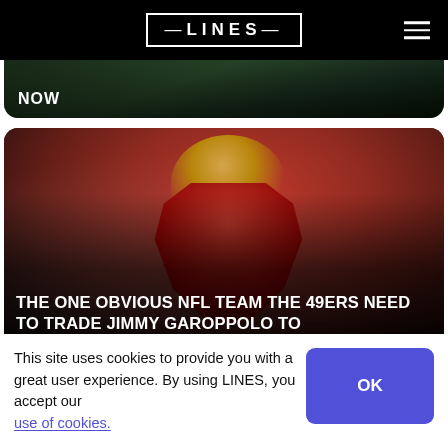LINES
[Figure (photo): Top partial card with 'NOW' label over a dark sports photo background]
[Figure (photo): San Francisco 49ers quarterback Jimmy Garoppolo in red uniform and gold helmet dropping back to pass]
THE ONE OBVIOUS NFL TEAM THE 49ERS NEED TO TRADE JIMMY GAROPPOLO TO
[Figure (photo): Partial bottom card showing a 49ers helmet in red and gold]
This site uses cookies to provide you with a great user experience. By using LINES, you accept our use of cookies.